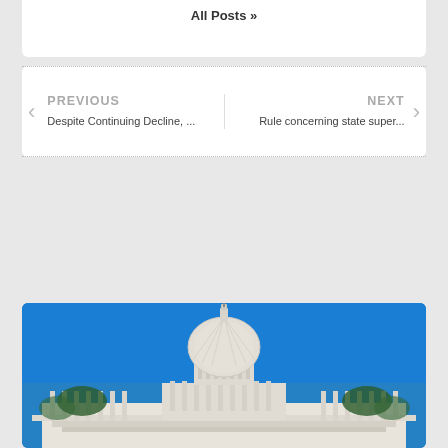All Posts »
PREVIOUS
Despite Continuing Decline, ...
NEXT
Rule concerning state super...
[Figure (photo): Photo of the United States Capitol building dome against a bright blue sky, with the building's white neoclassical columns and facade visible in the foreground.]